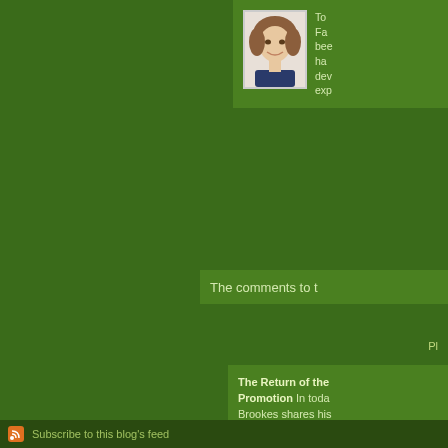[Figure (photo): Profile photo of a woman with short brown hair, wearing a dark blue top, smiling.]
To Fa bee ha dev exp
The comments to t
P
The Return of the Promotion In today Brookes shares his
Subscribe to this blog's feed